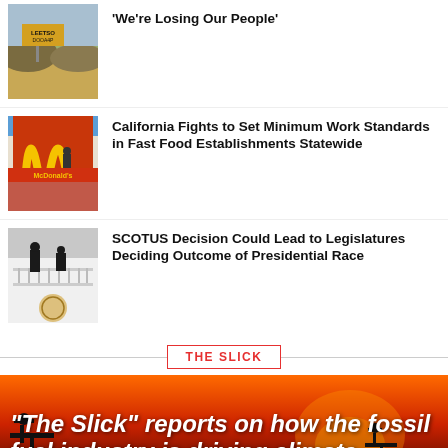'We're Losing Our People'
[Figure (photo): Desert landscape with LEETSO road sign]
California Fights to Set Minimum Work Standards in Fast Food Establishments Statewide
[Figure (photo): McDonald's sign with person on balcony]
SCOTUS Decision Could Lead to Legislatures Deciding Outcome of Presidential Race
[Figure (photo): People on White House balcony]
THE SLICK
"The Slick" reports on how the fossil fuel industry is driving climate change and influencing climate